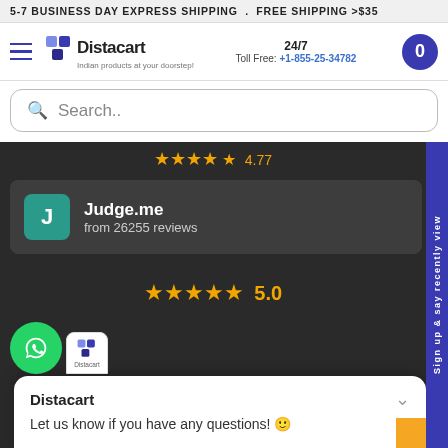5-7 BUSINESS DAY EXPRESS SHIPPING . FREE SHIPPING >$35
[Figure (screenshot): Distacart website header with logo, 24/7 Toll Free phone number +1-855-25-34782 and cart button]
Search..
[Figure (screenshot): Judge.me review widget showing 'Judge.me from 26255 reviews' on dark background]
[Figure (screenshot): 5 star rating showing 5.0 on dark background]
Sign up & say recently view
Distacart
Let us know if you have any questions! 😊